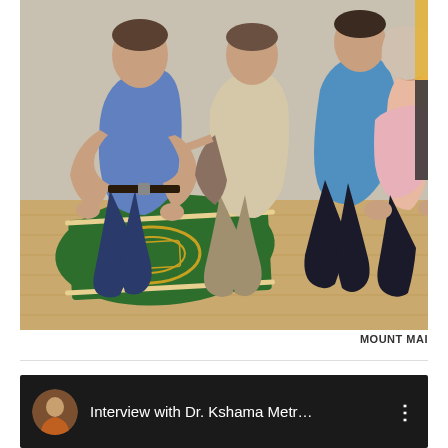[Figure (photo): Group of people kneeling on the floor in a prayer position inside a room. A man in a blue shirt is prominently visible on the left, others in various colored clothing behind him. A green prayer rug with yellow pattern is visible on the floor in the foreground.]
MOUNT MAI
[Figure (screenshot): YouTube video thumbnail with dark background showing a circular avatar with a person's photo, title text 'Interview with Dr. Kshama Metr...' and a three-dot menu icon on the right.]